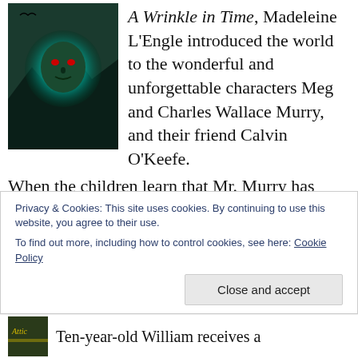[Figure (illustration): Book cover for A Wrinkle in Time showing a dark fantasy painting with a glowing orb containing a green-faced figure with red eyes, dark mountains and trees in the background.]
A Wrinkle in Time, Madeleine L'Engle introduced the world to the wonderful and unforgettable characters Meg and Charles Wallace Murry, and their friend Calvin O'Keefe. When the children learn that Mr. Murry has been captured by the Dark Thing, they time travel to Camazotz, where they must face the leader IT in the ultimate battle between good and evil—a journey that threatens their lives and our universe. A Newbery Award winner, A Wrinkle in Time is an iconic novel that continues to inspire millions of fans around the world.
Privacy & Cookies: This site uses cookies. By continuing to use this website, you agree to their use.
To find out more, including how to control cookies, see here: Cookie Policy
Close and accept
[Figure (illustration): Book cover thumbnail at bottom of page, partially visible, showing yellow/green text on a dark background.]
Ten-year-old William receives a